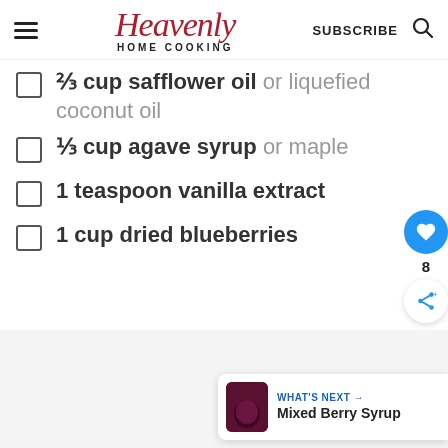Heavenly HOME COOKING | SUBSCRIBE
⅔ cup safflower oil or liquefied coconut oil
⅓ cup agave syrup or maple
1 teaspoon vanilla extract
1 cup dried blueberries